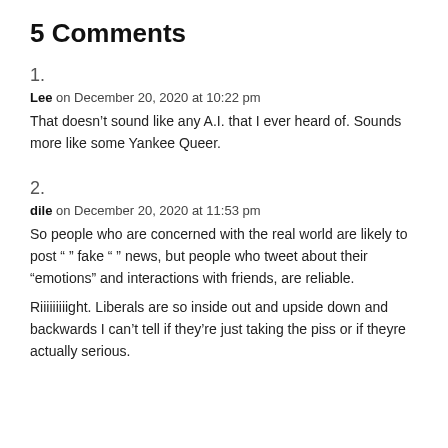5 Comments
1.
Lee on December 20, 2020 at 10:22 pm
That doesn’t sound like any A.I. that I ever heard of. Sounds more like some Yankee Queer.
2.
dile on December 20, 2020 at 11:53 pm
So people who are concerned with the real world are likely to post “ ” fake “ ” news, but people who tweet about their “emotions” and interactions with friends, are reliable.
Riiiiiiiiight. Liberals are so inside out and upside down and backwards I can’t tell if they’re just taking the piss or if theyre actually serious.